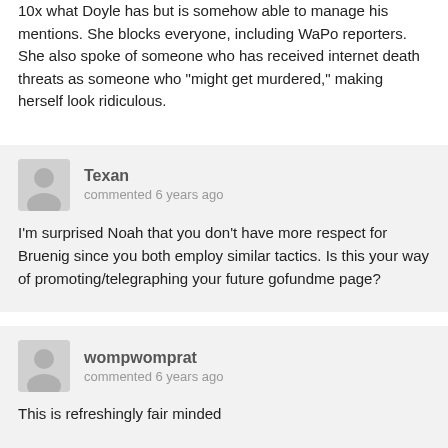10x what Doyle has but is somehow able to manage his mentions. She blocks everyone, including WaPo reporters. She also spoke of someone who has received internet death threats as someone who “might get murdered,” making herself look ridiculous.
Texan commented 6 years ago
I’m surprised Noah that you don’t have more respect for Bruenig since you both employ similar tactics. Is this your way of promoting/telegraphing your future gofundme page?
wompwomprat commented 6 years ago
This is refreshingly fair minded
Noah Berlatsky commented 6 years ago